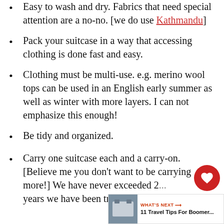Easy to wash and dry. Fabrics that need special attention are a no-no. [we do use Kathmandu]
Pack your suitcase in a way that accessing clothing is done fast and easy.
Clothing must be multi-use. e.g. merino wool tops can be used in an English early summer as well as winter with more layers.  I can not emphasize this enough!
Be tidy and organized.
Carry one suitcase each and a carry-on. [Believe me you don't want to be carrying more!]  We have never exceeded 2... years we have been travelling.